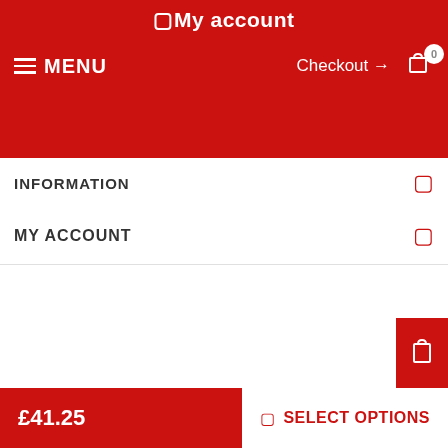🛒My account
≡ MENU   Checkout →   [cart icon] 0
INFORMATION
MY ACCOUNT
[Figure (other): Five social media placeholder icon boxes in a row]
Copyright © 2022 mastiff-dog-breed-store.co.uk.
[Figure (other): Payment logos: MasterCard, VISA, PayPal]
£41.25   🛒 SELECT OPTIONS